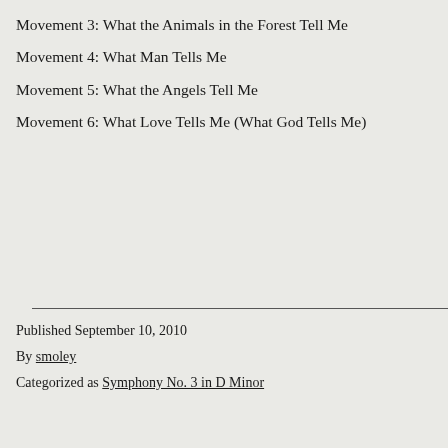Movement 3: What the Animals in the Forest Tell Me
Movement 4: What Man Tells Me
Movement 5: What the Angels Tell Me
Movement 6: What Love Tells Me (What God Tells Me)
Published September 10, 2010
By smoley
Categorized as Symphony No. 3 in D Minor